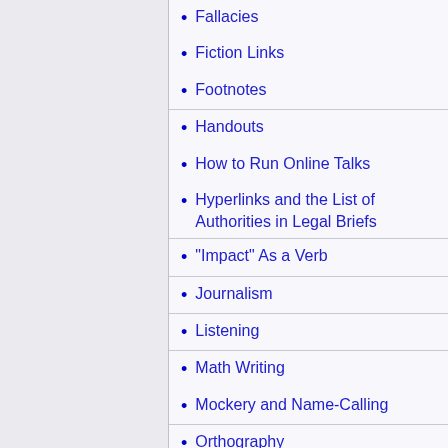Fallacies
Fiction Links
Footnotes
Handouts
How to Run Online Talks
Hyperlinks and the List of Authorities in Legal Briefs
"Impact" As a Verb
Journalism
Listening
Math Writing
Mockery and Name-Calling
Orthography
PhD students
Poems
Procrastination
The Publishing Business